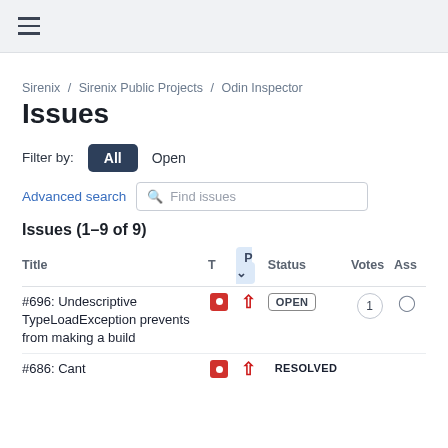≡
Sirenix / Sirenix Public Projects / Odin Inspector
Issues
Filter by: All  Open
Advanced search  Find issues
Issues (1–9 of 9)
| Title | T | P | Status | Votes | Ass |
| --- | --- | --- | --- | --- | --- |
| #696: Undescriptive TypeLoadException prevents from making a build | ■ | ↑ | OPEN | 1 |  |
| #686: Cant | ■ | ↑ | RESOLVED |  |  |